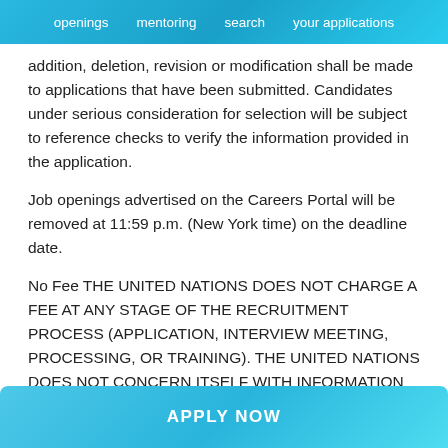openings   mentoring   search   your applications
addition, deletion, revision or modification shall be made to applications that have been submitted. Candidates under serious consideration for selection will be subject to reference checks to verify the information provided in the application.
Job openings advertised on the Careers Portal will be removed at 11:59 p.m. (New York time) on the deadline date.
No Fee THE UNITED NATIONS DOES NOT CHARGE A FEE AT ANY STAGE OF THE RECRUITMENT PROCESS (APPLICATION, INTERVIEW MEETING, PROCESSING, OR TRAINING). THE UNITED NATIONS DOES NOT CONCERN ITSELF WITH INFORMATION ON APPLICANTS' BANK ACCOUNTS.
APPLY NOW